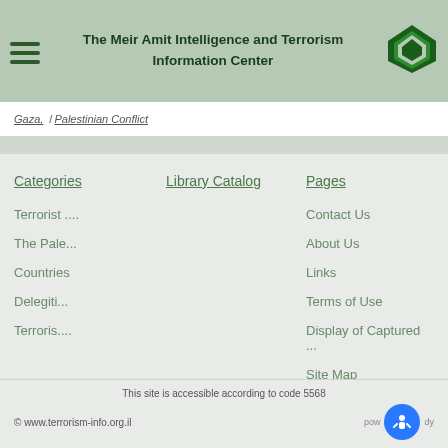The Meir Amit Intelligence and Terrorism Information Center
Gaza, / Palestinian Conflict
Categories
Library Catalog
Pages
Terrorist ...
The Pale...
Countries
Delegiti...
Terroris....
Contact Us
About Us
Links
Terms of Use
Display of Captured ...
Site Map
This site is accessible according to code 5568
© www.terrorism-info.org.il